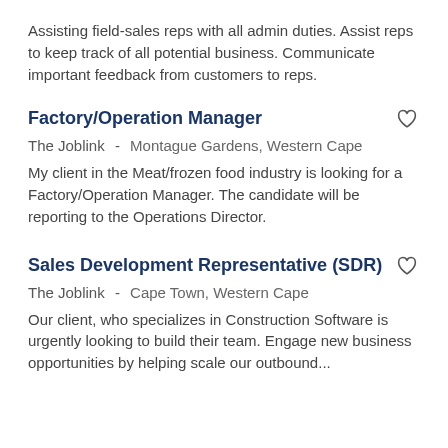Assisting field-sales reps with all admin duties. Assist reps to keep track of all potential business. Communicate important feedback from customers to reps.
Factory/Operation Manager
The Joblink -   Montague Gardens, Western Cape
My client in the Meat/frozen food industry is looking for a Factory/Operation Manager. The candidate will be reporting to the Operations Director.
Sales Development Representative (SDR)
The Joblink -   Cape Town, Western Cape
Our client, who specializes in Construction Software is urgently looking to build their team. Engage new business opportunities by helping scale our outbound...